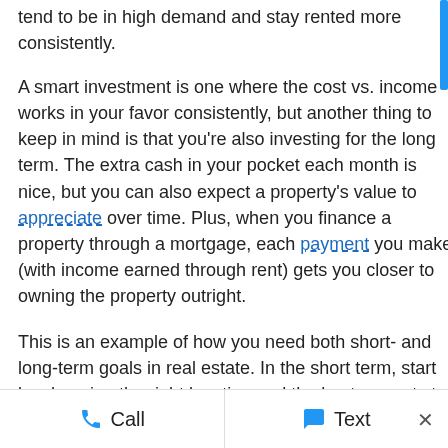tend to be in high demand and stay rented more consistently.
A smart investment is one where the cost vs. income works in your favor consistently, but another thing to keep in mind is that you're also investing for the long term. The extra cash in your pocket each month is nice, but you can also expect a property's value to appreciate over time. Plus, when you finance a property through a mortgage, each payment you make (with income earned through rent) gets you closer to owning the property outright.
This is an example of how you need both short- and long-term goals in real estate. In the short term, start by choosing the right location and the best property to maximize rental income. Making these careful decisions now will help make your investment a success and keep your long-term goals well within reach.
Image from Pixabay
Call   Text